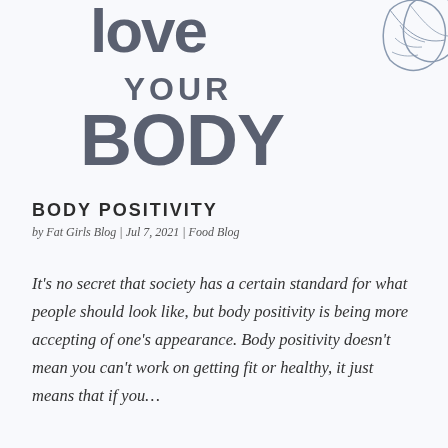[Figure (illustration): Hand-lettered 'Love Your Body' text illustration with a decorative leaf/floral element in the top right corner. Text is in a dark blue-grey hand-drawn font style.]
BODY POSITIVITY
by Fat Girls Blog | Jul 7, 2021 | Food Blog
It's no secret that society has a certain standard for what people should look like, but body positivity is being more accepting of one's appearance. Body positivity doesn't mean you can't work on getting fit or healthy, it just means that if you…